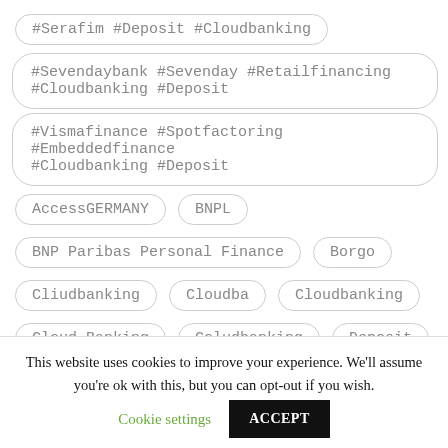#Serafim #Deposit #Cloudbanking
#Sevendaybank #Sevenday #Retailfinancing #Cloudbanking #Deposit
#Vismafinance #Spotfactoring #Embeddedfinance #Cloudbanking #Deposit
AccessGERMANY
BNPL
BNP Paribas Personal Finance
Borgo
Cliudbanking
Cloudba
Cloudbanking
Cloud Banking
Coludbanking
Deposit
This website uses cookies to improve your experience. We'll assume you're ok with this, but you can opt-out if you wish.
Cookie settings
ACCEPT